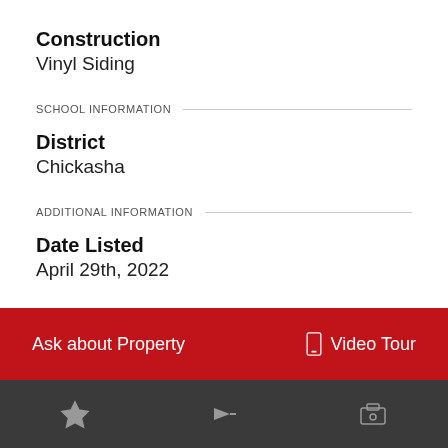Construction
Vinyl Siding
SCHOOL INFORMATION
District
Chickasha
ADDITIONAL INFORMATION
Date Listed
April 29th, 2022
Ask about Property
Video Tour
NEW